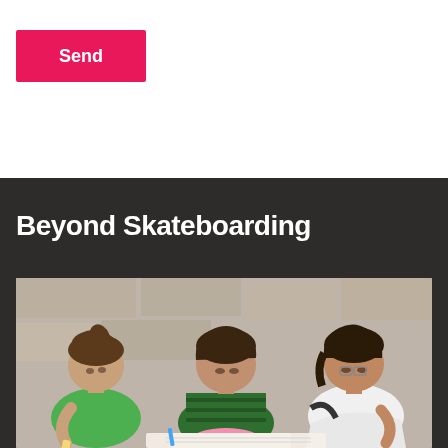Send
Beyond Skateboarding
[Figure (photo): Three young girls huddled together, looking down and writing or drawing on paper, photographed outdoors against a stone wall background.]